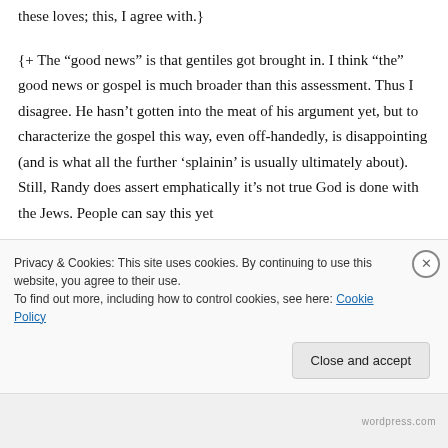these loves; this, I agree with.}
{+ The “good news” is that gentiles got brought in. I think “the” good news or gospel is much broader than this assessment. Thus I disagree. He hasn’t gotten into the meat of his argument yet, but to characterize the gospel this way, even off-handedly, is disappointing (and is what all the further ‘splainin’ is usually ultimately about). Still, Randy does assert emphatically it’s not true God is done with the Jews. People can say this yet
Privacy & Cookies: This site uses cookies. By continuing to use this website, you agree to their use.
To find out more, including how to control cookies, see here: Cookie Policy
Close and accept